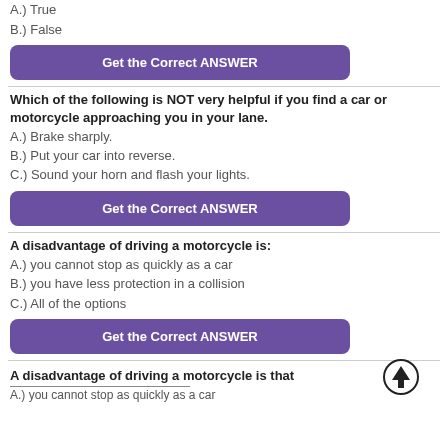A.) True
B.) False
[Figure (other): Purple button: Get the Correct ANSWER]
Which of the following is NOT very helpful if you find a car or motorcycle approaching you in your lane.
A.) Brake sharply.
B.) Put your car into reverse.
C.) Sound your horn and flash your lights.
[Figure (other): Purple button: Get the Correct ANSWER]
A disadvantage of driving a motorcycle is:
A.) you cannot stop as quickly as a car
B.) you have less protection in a collision
C.) All of the options
[Figure (other): Purple button: Get the Correct ANSWER]
A disadvantage of driving a motorcycle is that
A.) you cannot stop as quickly as a car